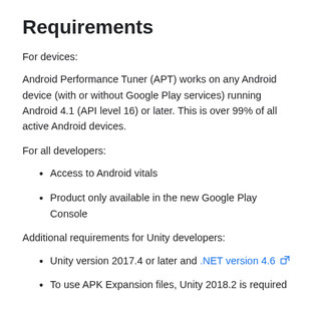Requirements
For devices:
Android Performance Tuner (APT) works on any Android device (with or without Google Play services) running Android 4.1 (API level 16) or later. This is over 99% of all active Android devices.
For all developers:
Access to Android vitals
Product only available in the new Google Play Console
Additional requirements for Unity developers:
Unity version 2017.4 or later and .NET version 4.6 [external link]
To use APK Expansion files, Unity 2018.2 is required